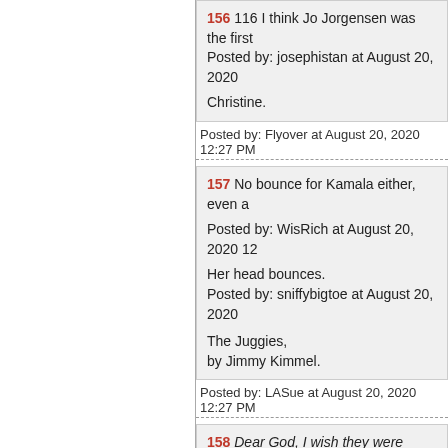156 116 I think Jo Jorgensen was the first
Posted by: josephistan at August 20, 2020

Christine.
Posted by: Flyover at August 20, 2020 12:27 PM
157 No bounce for Kamala either, even a
Posted by: WisRich at August 20, 2020 12
Her head bounces.
Posted by: sniffybigtoe at August 20, 2020

The Juggies,
by Jimmy Kimmel.
Posted by: LASue at August 20, 2020 12:27 PM
158 Dear God, I wish they were scared of
Their actions tell me they're not scared of